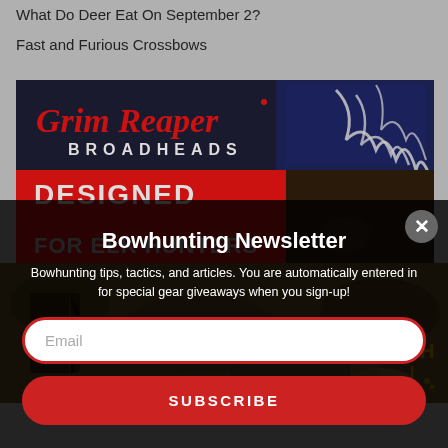What Do Deer Eat On September 2?
Fast and Furious Crossbows
[Figure (photo): Grim Reaper Broadheads advertisement banner - dark background with American flag, elk antlers, red banner reading DESIGNED FOR ELK HUNTERS, and red Gothic-style Grim Reaper Broadheads logo text]
[Figure (photo): Background image of a bowhunter in camo gear in outdoor field setting]
Bowhunting Newsletter
Bowhunting tips, tactics, and articles. You are automatically entered in for special gear giveaways when you sign-up!
Email
SUBSCRIBE